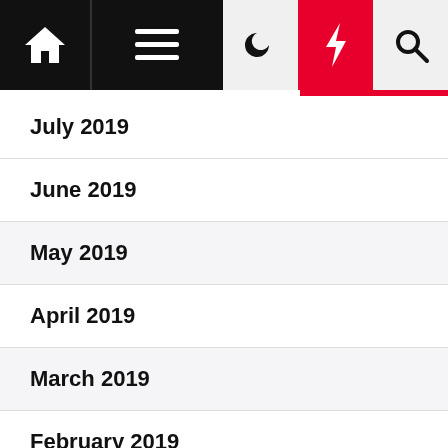Navigation bar with home, menu, moon, lightning, search icons
July 2019
June 2019
May 2019
April 2019
March 2019
February 2019
January 2019
December 2018
November 2018